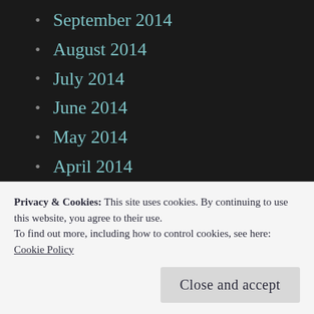September 2014
August 2014
July 2014
June 2014
May 2014
April 2014
March 2014
CATEGORIES
baseball
Privacy & Cookies: This site uses cookies. By continuing to use this website, you agree to their use.
To find out more, including how to control cookies, see here: Cookie Policy